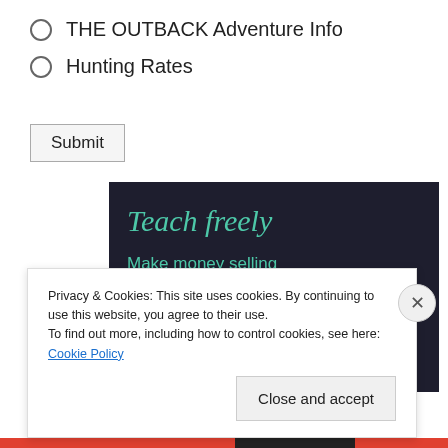THE OUTBACK Adventure Info
Hunting Rates
Submit
[Figure (screenshot): Dark advertisement banner with teal text reading 'Teach freely' and 'Make money selling online courses.']
Privacy & Cookies: This site uses cookies. By continuing to use this website, you agree to their use.
To find out more, including how to control cookies, see here: Cookie Policy
Close and accept